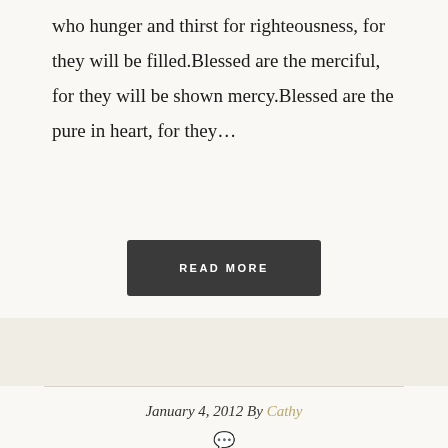who hunger and thirst for righteousness, for they will be filled.Blessed are the merciful, for they will be shown mercy.Blessed are the pure in heart, for they…
READ MORE
January 4, 2012 By Cathy
Leave a Comment